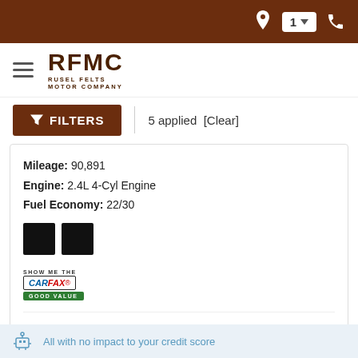RFMC - Rusel Felts Motor Company - Navigation bar with location, store selector (1), and phone icons
[Figure (logo): RFMC Rusel Felts Motor Company logo with hamburger menu]
FILTERS | 5 applied [Clear]
Mileage: 90,891
Engine: 2.4L 4-Cyl Engine
Fuel Economy: 22/30
[Figure (other): Two black color swatches and Carfax Good Value badge]
Price  $16,486
DETAILS | CHECK AVAILABILITY
All with no impact to your credit score